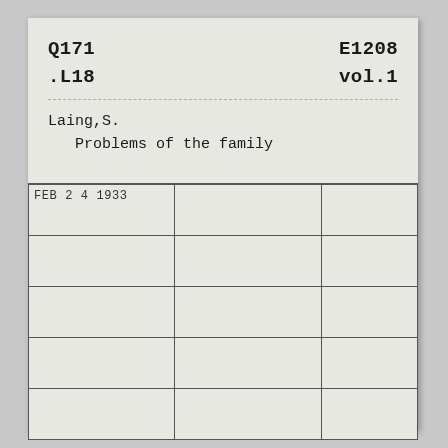Q171
.L18
E1208
vol.1
Laing,S.
  Problems of the family
| Date |  |  |
| --- | --- | --- |
| FEB 2 4 1933 |  |  |
|  |  |  |
|  |  |  |
|  |  |  |
|  |  |  |